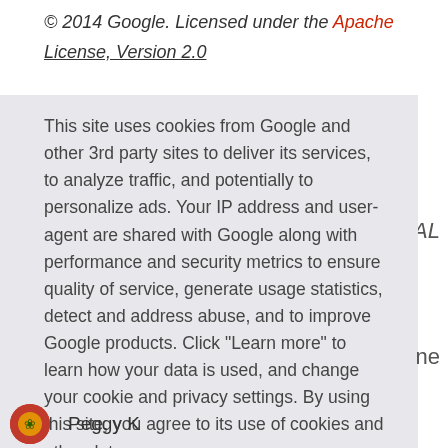© 2014 Google. Licensed under the Apache License, Version 2.0
This site uses cookies from Google and other 3rd party sites to deliver its services, to analyze traffic, and potentially to personalize ads. Your IP address and user-agent are shared with Google along with performance and security metrics to ensure quality of service, generate usage statistics, detect and address abuse, and to improve Google products. Click "Learn more" to learn how your data is used, and change your cookie and privacy settings. By using this site, you agree to its use of cookies and other data.
Learn more
Got it!
Peggy K